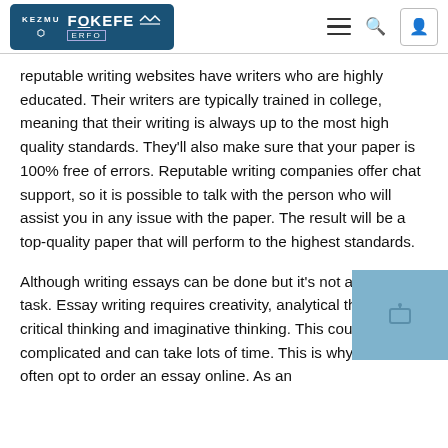KEZMU FOKEFE ERFO — navigation header with hamburger menu, search icon, and user icon
reputable writing websites have writers who are highly educated. Their writers are typically trained in college, meaning that their writing is always up to the most high quality standards. They'll also make sure that your paper is 100% free of errors. Reputable writing companies offer chat support, so it is possible to talk with the person who will assist you in any issue with the paper. The result will be a top-quality paper that will perform to the highest standards.
Although writing essays can be done but it's not an easy task. Essay writing requires creativity, analytical thinking, critical thinking and imaginative thinking. This could make it complicated and can take lots of time. This is why students often opt to order an essay online. As an